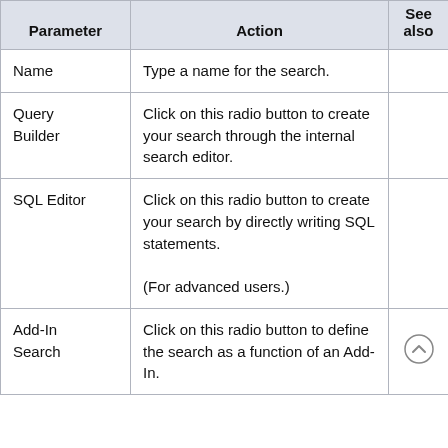| Parameter | Action | See also |
| --- | --- | --- |
| Name | Type a name for the search. |  |
| Query Builder | Click on this radio button to create your search through the internal search editor. |  |
| SQL Editor | Click on this radio button to create your search by directly writing SQL statements.

(For advanced users.) |  |
| Add-In Search | Click on this radio button to define the search as a function of an Add-In. | (scroll icon) |